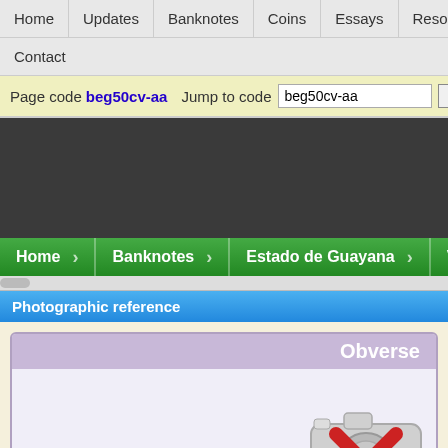Home | Updates | Banknotes | Coins | Essays | Resources | Sections | Contact
Page code beg50cv-aa   Jump to code beg50cv-aa   Go   Adva
[Figure (screenshot): Dark background section with green breadcrumb navigation bar showing: Home > Banknotes > Estado de Guayana > Venezolano > 50 Centavo]
Photographic reference
[Figure (photo): Obverse section with a placeholder no-photo icon (camera with red X) on a light purple background]